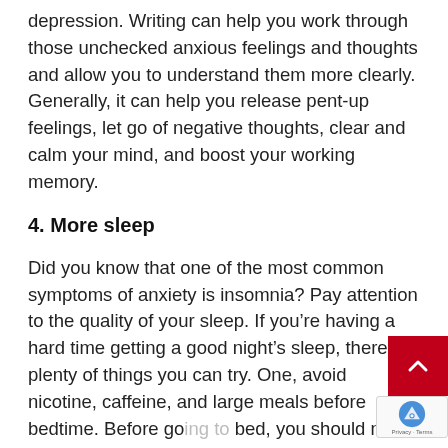depression. Writing can help you work through those unchecked anxious feelings and thoughts and allow you to understand them more clearly. Generally, it can help you release pent-up feelings, let go of negative thoughts, clear and calm your mind, and boost your working memory.
4. More sleep
Did you know that one of the most common symptoms of anxiety is insomnia? Pay attention to the quality of your sleep. If you're having a hard time getting a good night's sleep, there are plenty of things you can try. One, avoid nicotine, caffeine, and large meals before bedtime. Before going to bed, you should not also use laptops or phones or even watch television as they can trigger alertness